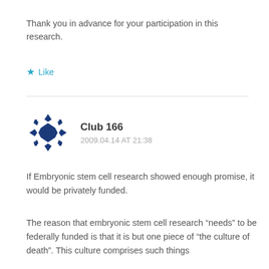Thank you in advance for your participation in this research.
★ Like
Club 166
2009.04.14 AT 21:38
If Embryonic stem cell research showed enough promise, it would be privately funded.
The reason that embryonic stem cell research “needs” to be federally funded is that it is but one piece of “the culture of death”. This culture comprises such things